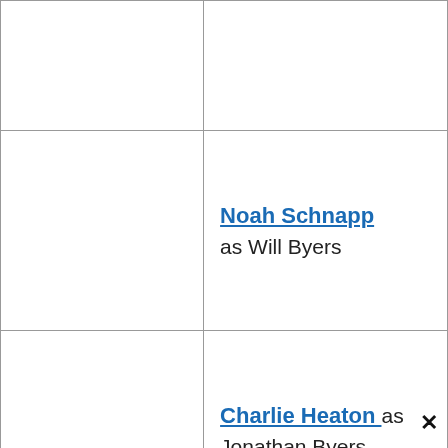|  |  |
|  | Noah Schnapp
as Will Byers |
|  | Charlie Heaton as Jonathan Byers |
|  |  |